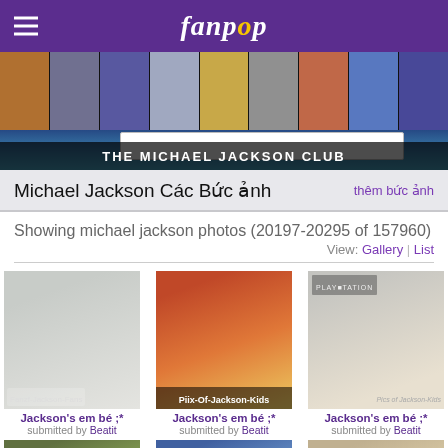fanpop
[Figure (photo): Fanpop website header with Michael Jackson fan club banner showing multiple photos of Michael Jackson across different eras, with club title 'THE MICHAEL JACKSON CLUB']
Michael Jackson Các Bức ảnh
thêm bức ảnh
Showing michael jackson photos (20197-20295 of 157960)
View: Gallery | List
[Figure (photo): Photo of a child in a black jacket and mask, standing against a light wall - Jackson's em bé ;*]
Jackson's em bé ;*
submitted by Beatit
[Figure (photo): Photo of Jackson's kids with Mickey Mouse characters - labeled Piix-Of-Jackson-Kids, Jackson's em bé ;*]
Jackson's em bé ;*
submitted by Beatit
[Figure (photo): Mirror selfie photo of man holding camera with young baby - Jackson's em bé ;*]
Jackson's em bé ;*
submitted by Beatit
[Figure (photo): Bottom row partial photos - three partially visible thumbnail photos]
Partial thumbnails row